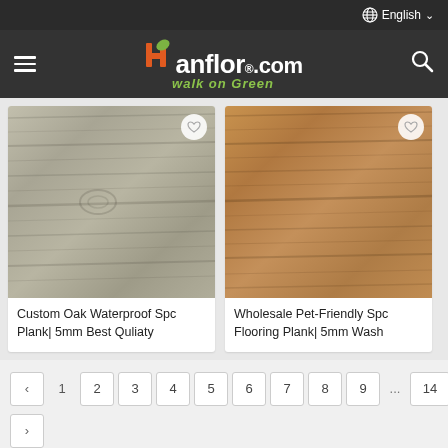English
[Figure (logo): hanflor.com walk on Green logo with orange H leaf icon on dark background]
[Figure (photo): Custom Oak Waterproof Spc Plank grey wood grain flooring texture]
Custom Oak Waterproof Spc Plank| 5mm Best Quliaty
[Figure (photo): Wholesale Pet-Friendly Spc Flooring Plank brown warm wood grain texture]
Wholesale Pet-Friendly Spc Flooring Plank| 5mm Wash
< 1 2 3 4 5 6 7 8 9 ... 14
>